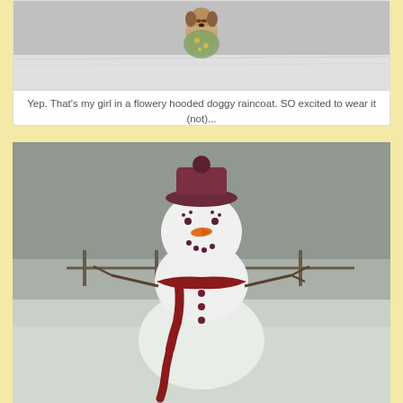[Figure (photo): Dog in snow wearing a flowery hooded doggy raincoat, photographed from above]
Yep. That's my girl in a flowery hooded doggy raincoat. SO excited to wear it (not)...
[Figure (photo): Snowman wearing a dark red/maroon knit hat and scarf, with carrot nose and button eyes, standing in snowy outdoor scene]